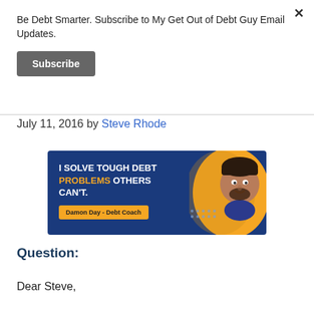Be Debt Smarter. Subscribe to My Get Out of Debt Guy Email Updates.
Subscribe
July 11, 2016 by Steve Rhode
[Figure (infographic): Advertisement banner: 'I SOLVE TOUGH DEBT PROBLEMS OTHERS CAN'T.' with Damon Day - Debt Coach label and a photo of a man on right side against blue and gold background.]
Question:
Dear Steve,